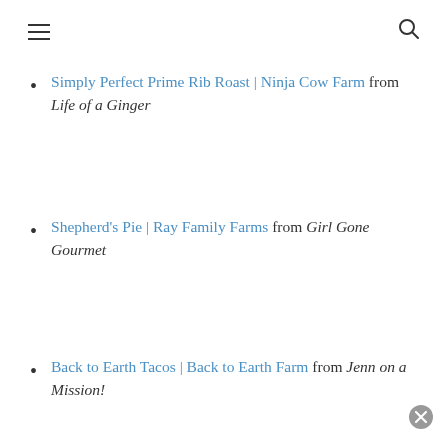navigation menu icon | search icon
Simply Perfect Prime Rib Roast | Ninja Cow Farm from Life of a Ginger
Shepherd's Pie | Ray Family Farms from Girl Gone Gourmet
Back to Earth Tacos | Back to Earth Farm from Jenn on a Mission!